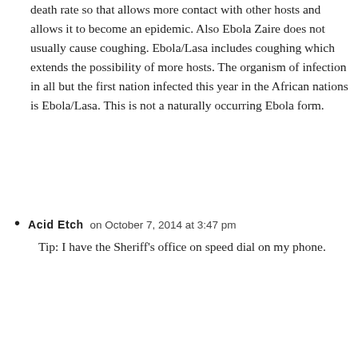death rate so that allows more contact with other hosts and allows it to become an epidemic. Also Ebola Zaire does not usually cause coughing. Ebola/Lasa includes coughing which extends the possibility of more hosts. The organism of infection in all but the first nation infected this year in the African nations is Ebola/Lasa. This is not a naturally occurring Ebola form.
Acid Etch on October 7, 2014 at 3:47 pm
Tip: I have the Sheriff's office on speed dial on my phone.